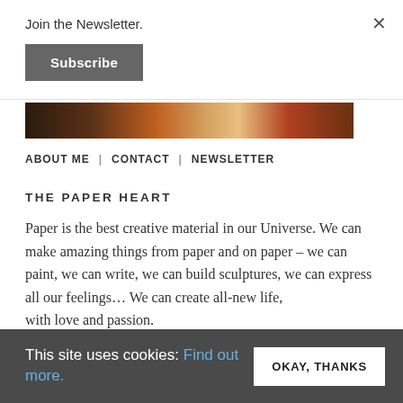Join the Newsletter.
Subscribe
×
[Figure (photo): Dark warm-toned horizontal photo strip showing books or objects with reddish and golden hues]
ABOUT ME | CONTACT | NEWSLETTER
THE PAPER HEART
Paper is the best creative material in our Universe. We can make amazing things from paper and on paper – we can paint, we can write, we can build sculptures, we can express all our feelings… We can create all-new life, with love and passion.
This site uses cookies: Find out more.
OKAY, THANKS